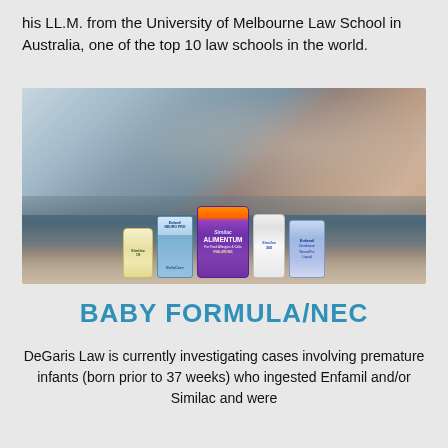his LL.M. from the University of Melbourne Law School in Australia, one of the top 10 law schools in the world.
[Figure (photo): Photo of a premature infant in a hospital incubator, with various baby formula products displayed in front including Enfamil EnfaCare, Similac Alimentum, Similac, and Enfamil containers.]
BABY FORMULA/NEC
DeGaris Law is currently investigating cases involving premature infants (born prior to 37 weeks) who ingested Enfamil and/or Similac and were